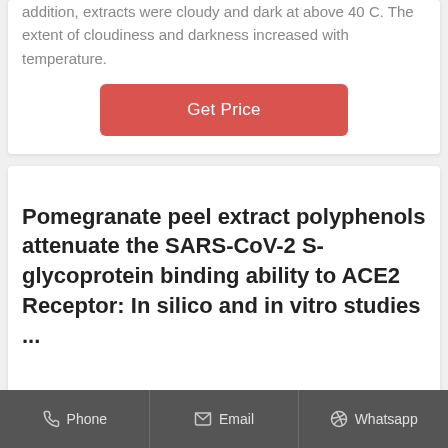addition, extracts were cloudy and dark at above 40 C. The extent of cloudiness and darkness increased with temperature.
Get Price
Pomegranate peel extract polyphenols attenuate the SARS-CoV-2 S-glycoprotein binding ability to ACE2 Receptor: In silico and in vitro studies ...
Phone   Email   Whatsapp